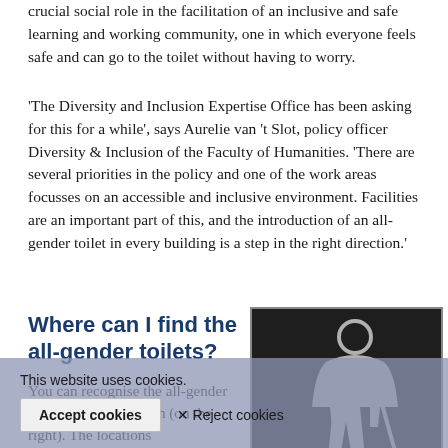crucial social role in the facilitation of an inclusive and safe learning and working community, one in which everyone feels safe and can go to the toilet without having to worry.
'The Diversity and Inclusion Expertise Office has been asking for this for a while', says Aurelie van 't Slot, policy officer Diversity & Inclusion of the Faculty of Humanities. 'There are several priorities in the policy and one of the work areas focusses on an accessible and inclusive environment. Facilities are an important part of this, and the introduction of an all-gender toilet in every building is a step in the right direction.'
Where can I find the all-gender toilets?
You can recognise the all-gender toilets by the new icon (on the right). The locations of the all-gender toilets are
[Figure (illustration): All-gender toilet sign: a dark/black square background with a grey outline figure combining male and female characteristics, representing an all-gender toilet icon.]
This website uses cookies.
Accept cookies   ✕ Reject cookies